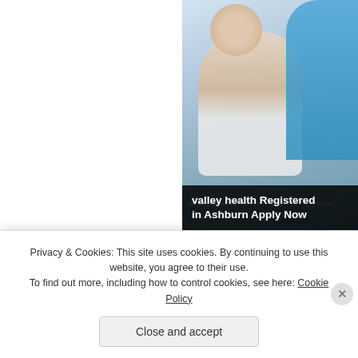[Figure (photo): Photo of elderly patient with nurse/caregiver in blue scrubs]
valley health Registered in Ashburn Apply Now
sponsored by Hearing Aid Advice
World Leading Provider qualify for a no-risk tria
Privacy & Cookies: This site uses cookies. By continuing to use this website, you agree to their use.
To find out more, including how to control cookies, see here: Cookie Policy
Close and accept